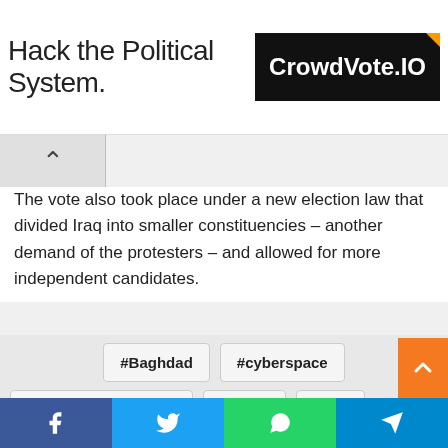[Figure (screenshot): Advertisement banner: 'Hack the Political System.' text on left, CrowdVote.IO logo on black background on right]
The vote also took place under a new election law that divided Iraq into smaller constituencies – another demand of the protesters – and allowed for more independent candidates.
#Baghdad
#cyberspace
#European countries
#Fatah
#Iraq
#iraq election
#Iraq War
#muqtada al Sadar
#shiite news
#UN